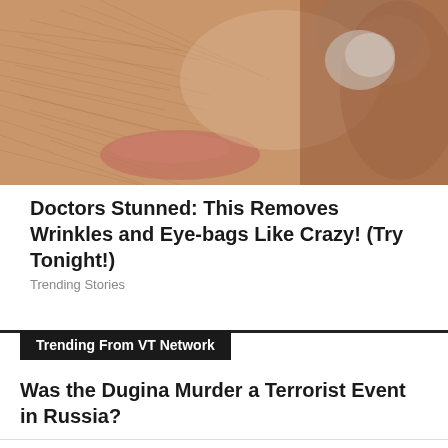[Figure (photo): Close-up photo of a person's face showing wrinkled, dry skin around the cheek and lip area]
Doctors Stunned: This Removes Wrinkles and Eye-bags Like Crazy! (Try Tonight!)
Trending Stories
Trending From VT Network
Was the Dugina Murder a Terrorist Event in Russia?
Is NATO a War Profiteering Organization Keeping